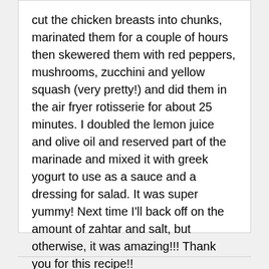cut the chicken breasts into chunks, marinated them for a couple of hours then skewered them with red peppers, mushrooms, zucchini and yellow squash (very pretty!) and did them in the air fryer rotisserie for about 25 minutes. I doubled the lemon juice and olive oil and reserved part of the marinade and mixed it with greek yogurt to use as a sauce and a dressing for salad. It was super yummy! Next time I'll back off on the amount of zahtar and salt, but otherwise, it was amazing!!! Thank you for this recipe!!